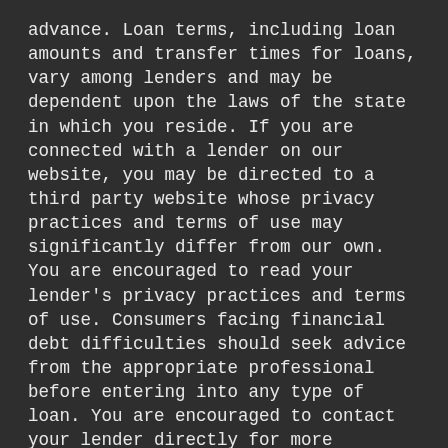advance. Loan terms, including loan amounts and transfer times for loans, vary among lenders and may be dependent upon the laws of the state in which you reside. If you are connected with a lender on our website, you may be directed to a third party website whose privacy practices and terms of use may significantly differ from our own. You are encouraged to read your lender's privacy practices and terms of use. Consumers facing financial debt difficulties should seek advice from the appropriate professional before entering into any type of loan. You are encouraged to contact your lender directly for more information.
*The Operator of This Website is a for-profit advertising network. We receive compensation, in the form of referral fees, from the lenders, aggregators, or other offers that we direct you to. Therefore, the amount of compensation provided, along with other factors, may impact which offer you are presented. The offer you receive may be coming from the company that bid the